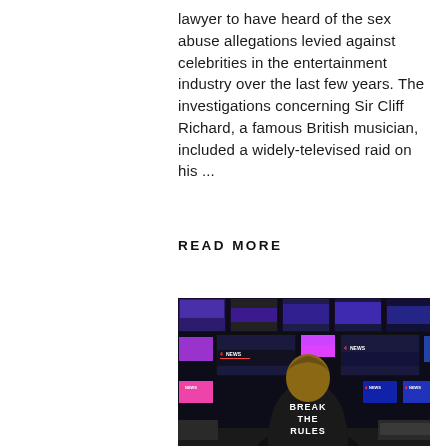lawyer to have heard of the sex abuse allegations levied against celebrities in the entertainment industry over the last few years. The investigations concerning Sir Cliff Richard, a famous British musician, included a widely-televised raid on his ...
READ MORE
[Figure (photo): Person wearing a black hoodie with 'BREAK THE RULES' printed on the back, sitting in front of a wall of TV monitors displaying Channel 4 News branding with colourful screens.]